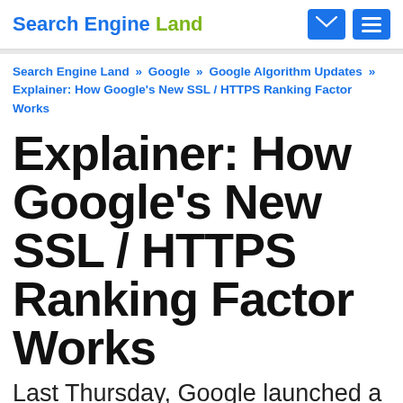Search Engine Land
Search Engine Land » Google » Google Algorithm Updates » Explainer: How Google's New SSL / HTTPS Ranking Factor Works
Explainer: How Google's New SSL / HTTPS Ranking Factor Works
Last Thursday, Google launched a new ranking signal to give HTTPS sites a ranking boost, a small ranking boost, to